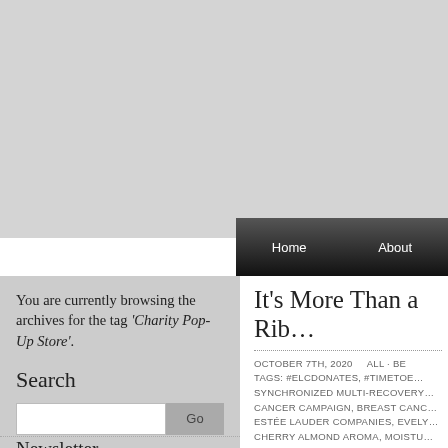[Figure (other): Large grey placeholder image area at top of page]
Home   About
You are currently browsing the archives for the tag 'Charity Pop-Up Store'.
Search
Newsletter
It's More Than a Rib…
OCTOBER 7TH, 2020   ALL · BE   TAGS: #ELCDONATES, #TIMETOE…   SYNCHRONIZED MULTI-RECOVERY…   CANCER CAMPAIGN, BREAST CANC…   ESTÉE LAUDER COMPANIES, EVELY…   CHERRY ALMOND AROMA, MOISTU…   PERFECTION LIP KIT, ZURICH, CHAR…